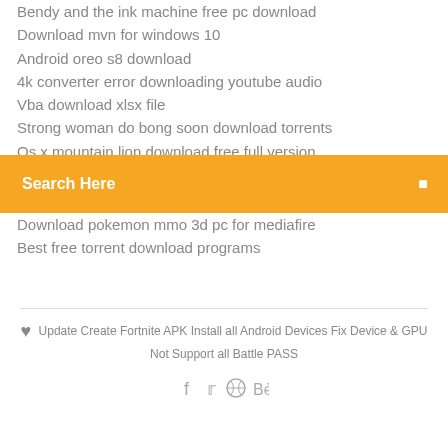Bendy and the ink machine free pc download
Download mvn for windows 10
Android oreo s8 download
4k converter error downloading youtube audio
Vba download xlsx file
Strong woman do bong soon download torrents
Os x mountain lion download free full version
Search Here
Download pokemon mmo 3d pc for mediafire
Best free torrent download programs
Update Create Fortnite APK Install all Android Devices Fix Device & GPU Not Support all Battle PASS